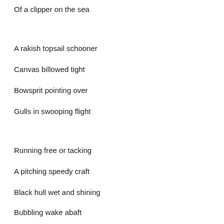Of a clipper on the sea
A rakish topsail schooner
Canvas billowed tight
Bowsprit pointing over
Gulls in swooping flight
Running free or tacking
A pitching speedy craft
Black hull wet and shining
Bubbling wake abaft